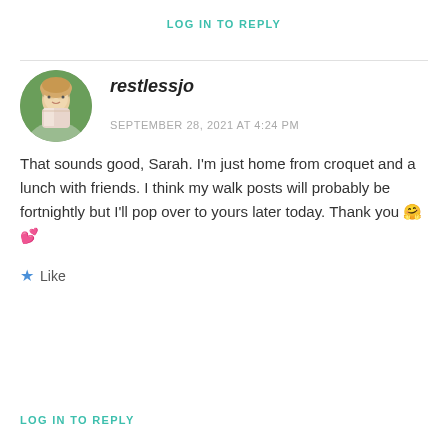LOG IN TO REPLY
restlessjo
SEPTEMBER 28, 2021 AT 4:24 PM
That sounds good, Sarah. I'm just home from croquet and a lunch with friends. I think my walk posts will probably be fortnightly but I'll pop over to yours later today. Thank you 🤗💕
Like
LOG IN TO REPLY